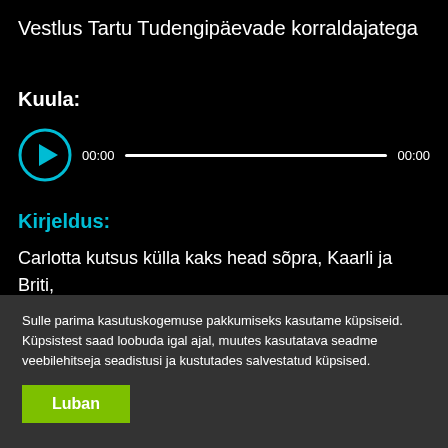Vestlus Tartu Tudengipäevade korraldajatega
Kuula:
[Figure (other): Audio player with play button, time display 00:00, progress bar, and end time 00:00]
Kirjeldus:
Carlotta kutsus külla kaks head sõpra, Kaarli ja Briti, kes on Tartu Tudengipäevade korraldajad. Britt ja
Sulle parima kasutuskogemuse pakkumiseks kasutame küpsiseid. Küpsistest saad loobuda igal ajal, muutes kasutatava seadme veebilehitseja seadistusi ja kustutades salvestatud küpsised.
Luban